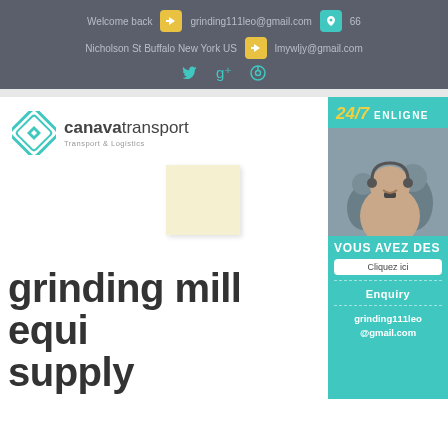Welcome back  grinding111leo@gmail.com  66  Nicholson St Buffalo New York US  lmywljy@gmail.com
[Figure (logo): Canava Transport logo with teal diamond icon and text 'canavatransport Transport & Logistics']
[Figure (infographic): Sidebar panel with '24/7 ENLIGNE', customer service photo, 'VOUS AVEZ DES', 'Cliquez ici' button, 'Enquiry', 'grinding111leo@gmail.com']
grinding mill equi... supply